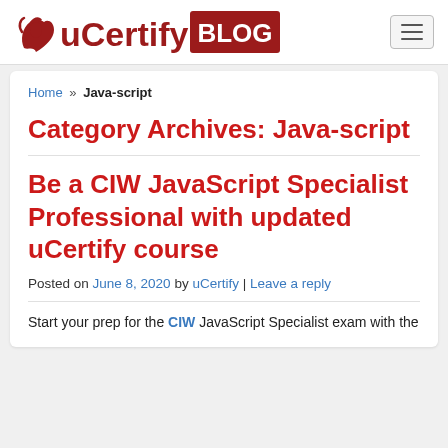uCertify BLOG
Home » Java-script
Category Archives: Java-script
Be a CIW JavaScript Specialist Professional with updated uCertify course
Posted on June 8, 2020 by uCertify | Leave a reply
Start your prep for the CIW JavaScript Specialist exam with the